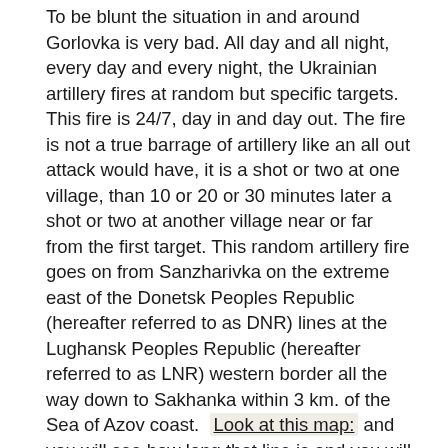To be blunt the situation in and around Gorlovka is very bad. All day and all night, every day and every night, the Ukrainian artillery fires at random but specific targets. This fire is 24/7, day in and day out. The fire is not a true barrage of artillery like an all out attack would have, it is a shot or two at one village, than 10 or 20 or 30 minutes later a shot or two at another village near or far from the first target. This random artillery fire goes on from Sanzharivka on the extreme east of the Donetsk Peoples Republic (hereafter referred to as DNR) lines at the Lughansk Peoples Republic (hereafter referred to as LNR) western border all the way down to Sakhanka within 3 km. of the Sea of Azov coast. Look at this map: and you will see how long that line is and you will see how thin the DNR lines are compared to the Ukrainian lines.
The Ukrainian fire is directed at specific houses in each village, moving to another house after the targeted house is destroyed. They can, and do, go from house to house in a particular street and when all the houses on that street are severely damaged or destroyed they move to another street and start the process over again. Primary targets in a village at the start of the fire is infrastructure, gas lines, water pumping stations, electric